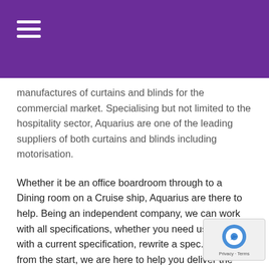manufactures of curtains and blinds for the commercial market. Specialising but not limited to the hospitality sector, Aquarius are one of the leading suppliers of both curtains and blinds including motorisation.
Whether it be an office boardroom through to a Dining room on a Cruise ship, Aquarius are there to help. Being an independent company, we can work with all specifications, whether you need us to work with a current specification, rewrite a spec. or advise from the start, we are here to help you deliver the right product at the right budget.
Having worked on every continent around the world, Aquarius has proven that they are more than happy to travel to ensure that their product can conform to every standard. Working in the UK remains a driving force and working with local architects